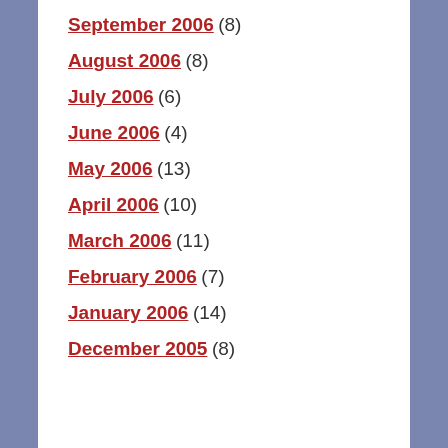September 2006 (8)
August 2006 (8)
July 2006 (6)
June 2006 (4)
May 2006 (13)
April 2006 (10)
March 2006 (11)
February 2006 (7)
January 2006 (14)
December 2005 (8)